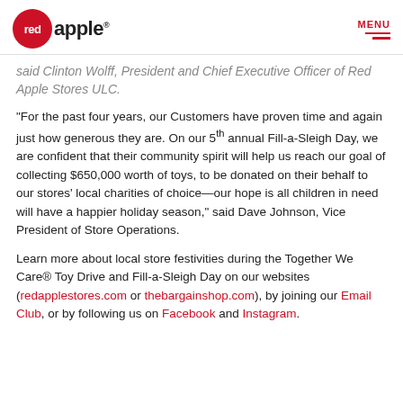red apple | MENU
said Clinton Wolff, President and Chief Executive Officer of Red Apple Stores ULC.
“For the past four years, our Customers have proven time and again just how generous they are. On our 5th annual Fill-a-Sleigh Day, we are confident that their community spirit will help us reach our goal of collecting $650,000 worth of toys, to be donated on their behalf to our stores’ local charities of choice—our hope is all children in need will have a happier holiday season,” said Dave Johnson, Vice President of Store Operations.
Learn more about local store festivities during the Together We Care® Toy Drive and Fill-a-Sleigh Day on our websites (redapplestores.com or thebargainshop.com), by joining our Email Club, or by following us on Facebook and Instagram.